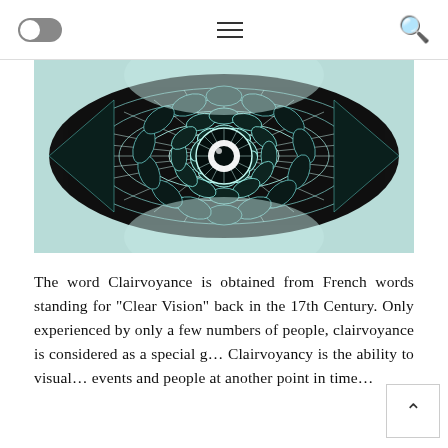Toggle | Menu | Search
[Figure (illustration): A mandala-style eye illustration in black and white/teal tones — an intricate geometric eye with concentric circular patterns, radiating lines, and honeycomb-like tessellations forming an eye shape against a light teal/white background.]
The word Clairvoyance is obtained from French words standing for "Clear Vision" back in the 17th Century. Only experienced by only a few numbers of people, clairvoyance is considered as a special g... Clairvoyancy is the ability to visual... events and people at another point in time...